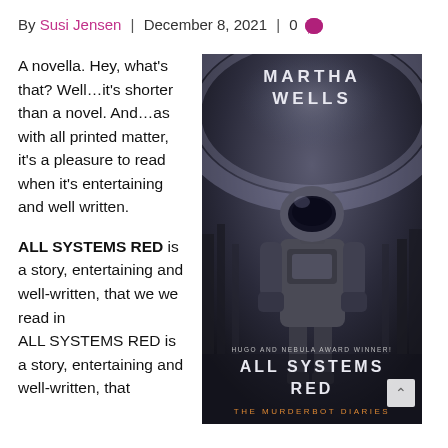By Susi Jensen | December 8, 2021 | 0 💬
A novella. Hey, what's that? Well…it's shorter than a novel. And…as with all printed matter, it's a pleasure to read when it's entertaining and well written.
[Figure (photo): Book cover of 'All Systems Red' by Martha Wells, The Murderbot Diaries. Features a figure in armor/spacesuit against a dramatic sci-fi background. Text reads: MARTHA WELLS, HUGO AND NEBULA AWARD WINNER!, ALL SYSTEMS RED, THE MURDERBOT DIARIES.]
ALL SYSTEMS RED is a story, entertaining and well-written, that we we read in...